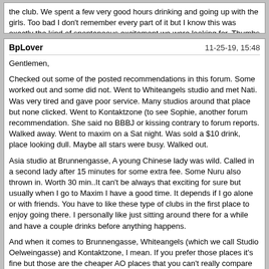the club. We spent a few very good hours drinking and going up with the girls. Too bad I don't remember every part of it but I know this was exactly the kind of spontaneous excitement we were looking for. Thumbs up for Maxim.
BpLover | 11-25-19, 15:48

Gentlemen,

Checked out some of the posted recommendations in this forum. Some worked out and some did not. Went to Whiteangels studio and met Nati. Was very tired and gave poor service. Many studios around that place but none clicked. Went to Kontaktzone (to see Sophie, another forum recommendation. She said no BBBJ or kissing contrary to forum reports. Walked away. Went to maxim on a Sat night. Was sold a $10 drink, place looking dull. Maybe all stars were busy. Walked out.

Asia studio at Brunnengasse, A young Chinese lady was wild. Called in a second lady after 15 minutes for some extra fee. Some Nuru also thrown in. Worth 30 min..It can't be always that exciting for sure but usually when I go to Maxim I have a good time. It depends if I go alone or with friends. You have to like these type of clubs in the first place to enjoy going there. I personally like just sitting around there for a while and have a couple drinks before anything happens.

And when it comes to Brunnengasse, Whiteangels (which we call Studio Oelweingasse) and Kontaktzone, I mean. If you prefer those places it's fine but those are the cheaper AO places that you can't really compare with Maxim. You are into a different category here.


I have never been to Maxim or Babylon, from comments on other sites it seems they are more like strip clubs with girls you can take upstairs but maybe there is confusion between the different cities. So, in that sense how do prices and ambiance compare specifically for Vienna since I'm fairly often in Golden Time or Fun Palast as a comparison. While I like to chat to a girl for a few minutes just to see if the chemistry is right, I'm not into buying drinks and sitting around for a long time. So, are Babylon and Maxim for me or should is stick to